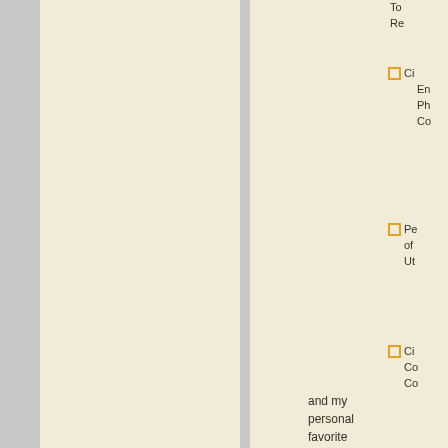To
Re
Ci
En
Ph
Co
Pe
of
Ut
Ci
Co
Co
Ge
Ph
Pa
an
So
Vie
Oh
Le
(20
Wi
Oh
and my
personal
favorite